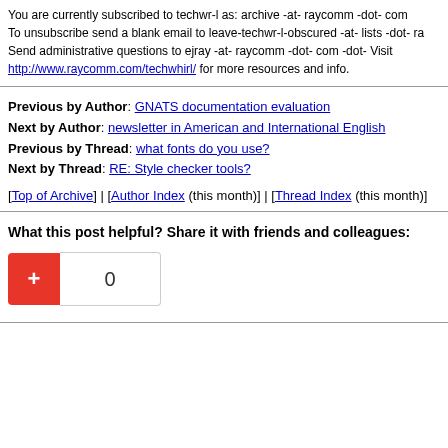You are currently subscribed to techwr-l as: archive -at- raycomm -dot- com To unsubscribe send a blank email to leave-techwr-l-obscured -at- lists -dot- ra Send administrative questions to ejray -at- raycomm -dot- com -dot- Visit http://www.raycomm.com/techwhirl/ for more resources and info.
Previous by Author: GNATS documentation evaluation
Next by Author: newsletter in American and International English
Previous by Thread: what fonts do you use?
Next by Thread: RE: Style checker tools?
[Top of Archive] | [Author Index (this month)] | [Thread Index (this month)]
What this post helpful? Share it with friends and colleagues:
[Figure (other): Social sharing widget with a red plus button and a count box showing 0]